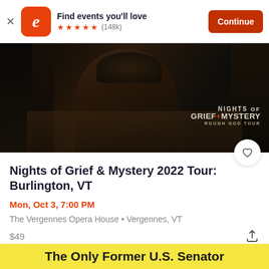[Figure (screenshot): Eventbrite app banner with logo, 'Find events you'll love', 5 stars (148k reviews), and Continue button]
[Figure (photo): Dark moody photo of performers with text overlay 'NIGHTS OF GRIEF+MYSTERY ROUGH GOD TOUR' and a heart/favorite button]
Nights of Grief & Mystery 2022 Tour: Burlington, VT
Mon, Oct 3, 7:00 PM
The Vergennes Opera House • Vergennes, VT
$49
The Only Former U.S. Senator